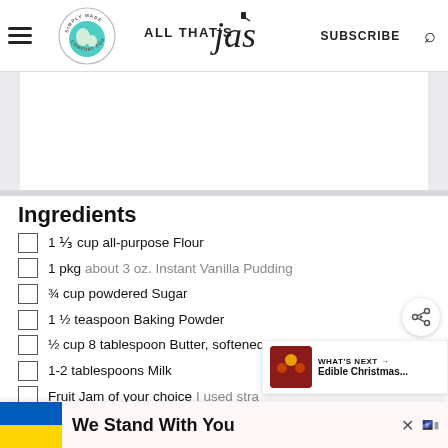ALL THAT'S Jas — SUBSCRIBE
Ingredients
1 ⅓ cup all-purpose Flour
1 pkg about 3 oz. Instant Vanilla Pudding
¾ cup powdered Sugar
1 ½ teaspoon Baking Powder
½ cup 8 tablespoon Butter, softened
1-2 tablespoons Milk
Fruit Jam of your choice I used stra…
1 cup Chocolate Chips
1 tablespoon Oil
We Stand With You